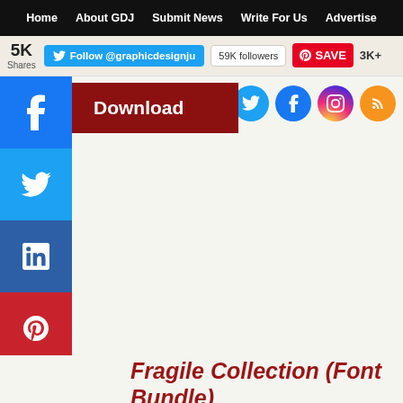Home | About GDJ | Submit News | Write For Us | Advertise
5K Shares  Follow @graphicdesignju  59K followers  SAVE  3K+
[Figure (screenshot): Social share sidebar with Facebook, Twitter, LinkedIn, Pinterest, and more buttons; a dark red Download button; social icons (Twitter, Facebook, Instagram, RSS)]
Fragile Collection (Font Bundle)
gorgeous, elegant graphics with the Fragile Collection fonts, each with their own personality, based on class d for use in headlines, invitations, logos, layouts, and distinct products, you can always find the perfect pairing or in next project.